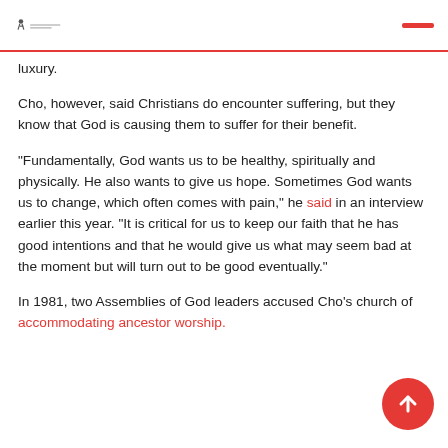luxury.
Cho, however, said Christians do encounter suffering, but they know that God is causing them to suffer for their benefit.
“Fundamentally, God wants us to be healthy, spiritually and physically. He also wants to give us hope. Sometimes God wants us to change, which often comes with pain,” he said in an interview earlier this year. “It is critical for us to keep our faith that he has good intentions and that he would give us what may seem bad at the moment but will turn out to be good eventually.”
In 1981, two Assemblies of God leaders accused Cho’s church of accommodating ancestor worship.